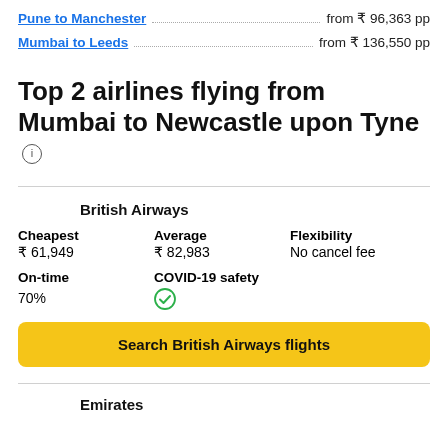Pune to Manchester ... from ₹ 96,363 pp
Mumbai to Leeds ... from ₹ 136,550 pp
Top 2 airlines flying from Mumbai to Newcastle upon Tyne
British Airways
| Cheapest | Average | Flexibility |
| --- | --- | --- |
| ₹ 61,949 | ₹ 82,983 | No cancel fee |
| On-time | COVID-19 safety |
| --- | --- |
| 70% | ✓ |
Search British Airways flights
Emirates